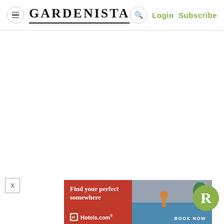GARDENISTA | Login Subscribe
[Figure (screenshot): White blank content area below the header]
[Figure (other): X close button for dismissing an element]
[Figure (other): Hotels.com advertisement banner reading 'Find your perfect somewhere' with beach imagery and BOOK NOW call to action. Green R badge overlay in bottom right.]